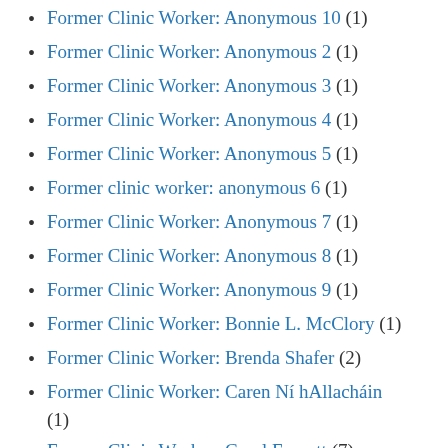Former Clinic Worker: Anonymous 10 (1)
Former Clinic Worker: Anonymous 2 (1)
Former Clinic Worker: Anonymous 3 (1)
Former Clinic Worker: Anonymous 4 (1)
Former Clinic Worker: Anonymous 5 (1)
Former clinic worker: anonymous 6 (1)
Former Clinic Worker: Anonymous 7 (1)
Former Clinic Worker: Anonymous 8 (1)
Former Clinic Worker: Anonymous 9 (1)
Former Clinic Worker: Bonnie L. McClory (1)
Former Clinic Worker: Brenda Shafer (2)
Former Clinic Worker: Caren Ní hAllacháin (1)
Former Clinic Worker: Carol Everett (7)
Former Clinic Worker: Catherine Adair (2)
Former Clinic Worker: Charjuana Hogan (1)
Former Clinic Worker: Christine (1)